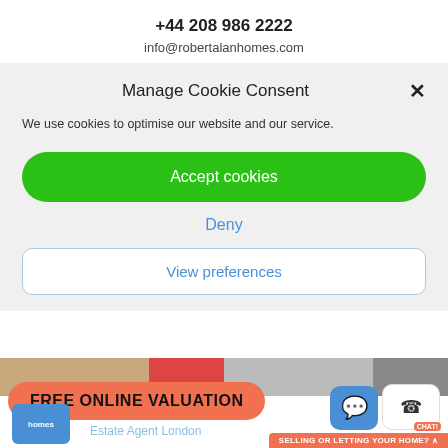+44 208 986 2222
info@robertalanhomes.com
Manage Cookie Consent
We use cookies to optimise our website and our service.
Accept cookies
Deny
View preferences
[Figure (screenshot): Bottom section showing photo strip, FREE ONLINE VALUATION button, Estate Agent London text, homes logo, and CHAT widget with SELLING OR LETTING YOUR HOME? bar]